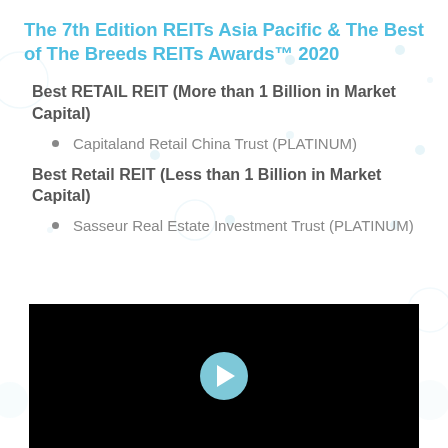The 7th Edition REITs Asia Pacific & The Best of The Breeds REITs Awards™ 2020
Best RETAIL REIT (More than 1 Billion in Market Capital)
Capitaland Retail China Trust (PLATINUM)
Best Retail REIT (Less than 1 Billion in Market Capital)
Sasseur Real Estate Investment Trust (PLATINUM)
[Figure (screenshot): Black video thumbnail with a light blue circular play button in the center]